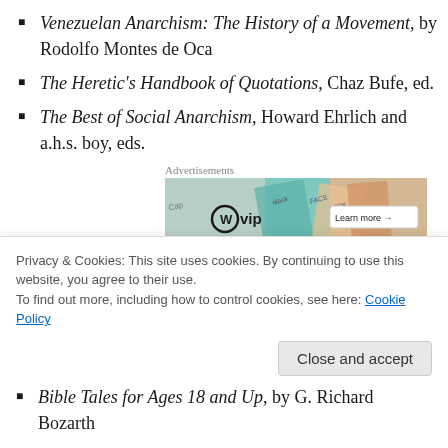Venezuelan Anarchism: The History of a Movement, by Rodolfo Montes de Oca
The Heretic's Handbook of Quotations, Chaz Bufe, ed.
The Best of Social Anarchism, Howard Ehrlich and a.h.s. boy, eds.
[Figure (other): WordPress VIP advertisement banner with colorful book covers and 'Learn more' button]
Science
Bible Tales for Ages 18 and Up, by G. Richard Bozarth
Privacy & Cookies: This site uses cookies. By continuing to use this website, you agree to their use. To find out more, including how to control cookies, see here: Cookie Policy